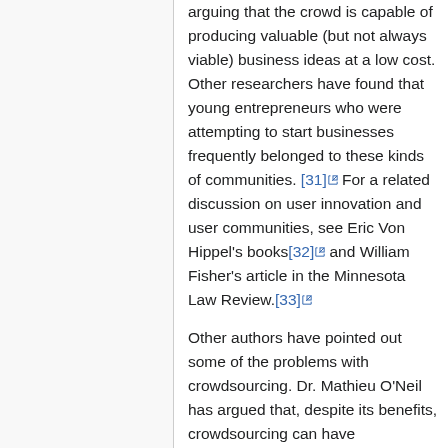arguing that the crowd is capable of producing valuable (but not always viable) business ideas at a low cost. Other researchers have found that young entrepreneurs who were attempting to start businesses frequently belonged to these kinds of communities. [31] For a related discussion on user innovation and user communities, see Eric Von Hippel's books[32] and William Fisher's article in the Minnesota Law Review.[33]
Other authors have pointed out some of the problems with crowdsourcing. Dr. Mathieu O'Neil has argued that, despite its benefits, crowdsourcing can have inconsistent quality, can lack the diversity needed to draw on the "wisdom of the crowd", and can contain many irresponsible actors.[34] Miriam Cherry